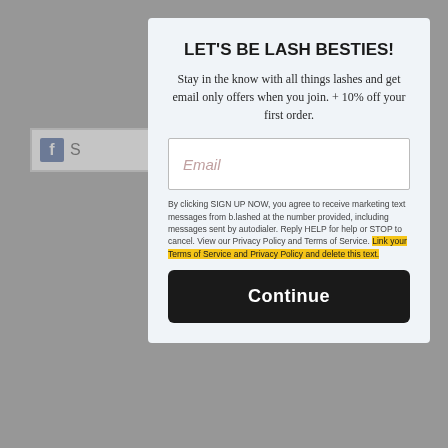[Figure (screenshot): Background webpage content showing partial text including '20 c', BBcode tags '[url=b...', '[u]гол', '[i]гол', Tegs section, and a Facebook share button, all dimmed behind modal overlay]
LET'S BE LASH BESTIES!
Stay in the know with all things lashes and get email only offers when you join. + 10% off your first order.
Email
By clicking SIGN UP NOW, you agree to receive marketing text messages from b.lashed at the number provided, including messages sent by autodialer. Reply HELP for help or STOP to cancel. View our Privacy Policy and Terms of Service. Link your Terms of Service and Privacy Policy and delete this text.
Continue